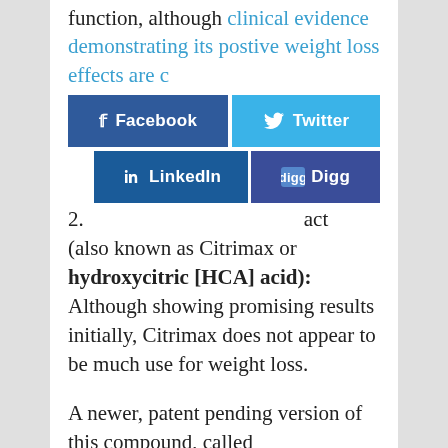function, although clinical evidence demonstrating its postive weight loss effects are c
[Figure (other): Social sharing buttons: Facebook, Twitter, LinkedIn, Digg]
2. ...act (also known as Citrimax or hydroxycitric [HCA] acid): Although showing promising results initially, Citrimax does not appear to be much use for weight loss.
A newer, patent pending version of this compound, called SuperCitrimax, where the HCA is bonded to calcium and magnesium to increase bioavailability...